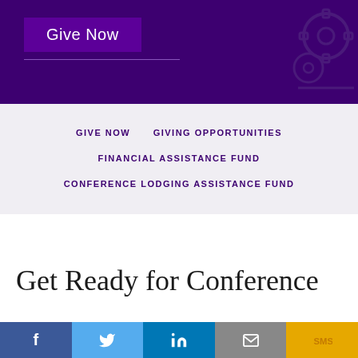[Figure (screenshot): Purple banner with Give Now button and gear/settings icon in top right]
Give Now
GIVE NOW
GIVING OPPORTUNITIES
FINANCIAL ASSISTANCE FUND
CONFERENCE LODGING ASSISTANCE FUND
Get Ready for Conference
[Figure (infographic): Social sharing bar with Facebook, Twitter, LinkedIn, Email, and SMS buttons]